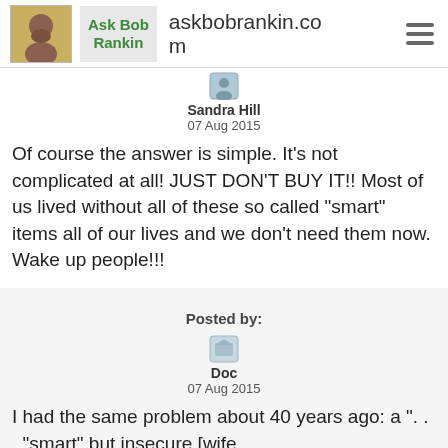askbobrankin.com
Sandra Hill
07 Aug 2015
Of course the answer is simple. It's not complicated at all! JUST DON'T BUY IT!! Most of us lived without all of these so called "smart" items all of our lives and we don't need them now. Wake up people!!!
Posted by:
Doc
07 Aug 2015
I had the same problem about 40 years ago: a ". . . "smart" but insecure [wife